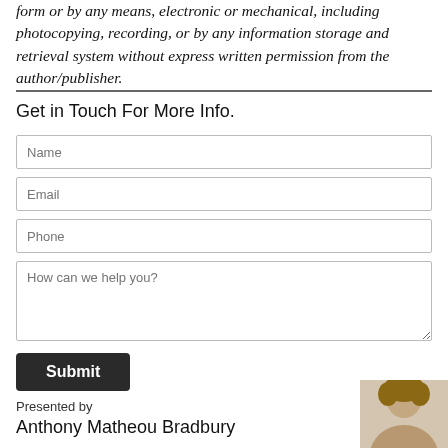form or by any means, electronic or mechanical, including photocopying, recording, or by any information storage and retrieval system without express written permission from the author/publisher.
Get in Touch For More Info.
[Figure (other): Contact form with Name, Email, Phone, and How can we help you? fields, plus a Submit button]
Presented by
Anthony Matheou Bradbury
[Figure (photo): Partial photo of a person (Anthony Matheou Bradbury) in the bottom right corner]